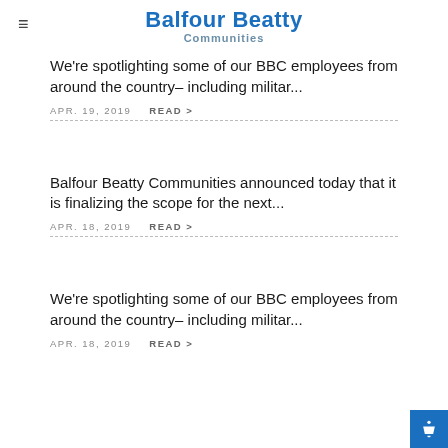Balfour Beatty Communities
We're spotlighting some of our BBC employees from around the country– including militar...
APR. 19, 2019   READ >
Balfour Beatty Communities announced today that it is finalizing the scope for the next...
APR. 18, 2019   READ >
We're spotlighting some of our BBC employees from around the country– including militar...
APR. 18, 2019   READ >